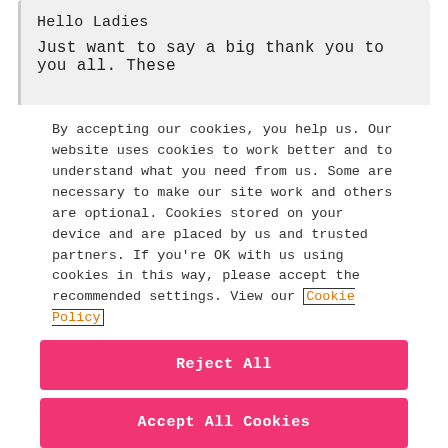Hello Ladies
Just want to say a big thank you to you all. These
By accepting our cookies, you help us. Our website uses cookies to work better and to understand what you need from us. Some are necessary to make our site work and others are optional. Cookies stored on your device and are placed by us and trusted partners. If you're OK with us using cookies in this way, please accept the recommended settings. View our Cookie Policy
Manage My Settings
Reject All
Accept All Cookies